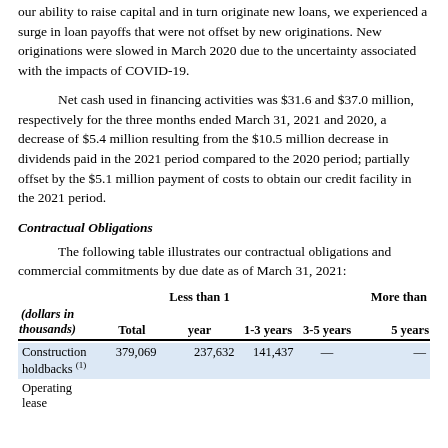our ability to raise capital and in turn originate new loans, we experienced a surge in loan payoffs that were not offset by new originations. New originations were slowed in March 2020 due to the uncertainty associated with the impacts of COVID-19.
Net cash used in financing activities was $31.6 and $37.0 million, respectively for the three months ended March 31, 2021 and 2020, a decrease of $5.4 million resulting from the $10.5 million decrease in dividends paid in the 2021 period compared to the 2020 period; partially offset by the $5.1 million payment of costs to obtain our credit facility in the 2021 period.
Contractual Obligations
The following table illustrates our contractual obligations and commercial commitments by due date as of March 31, 2021:
| (dollars in thousands) | Total | Less than 1 year | 1-3 years | 3-5 years | More than 5 years |
| --- | --- | --- | --- | --- | --- |
| Construction holdbacks (1) | 379,069 | 237,632 | 141,437 | — | — |
| Operating lease |  |  |  |  |  |